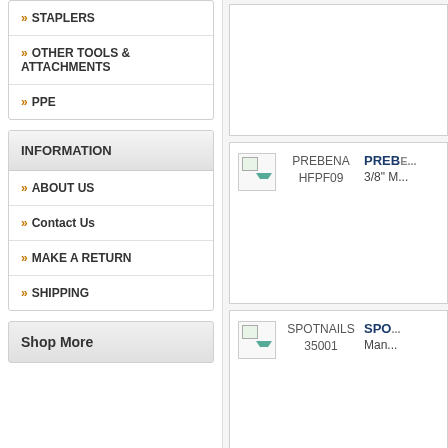>> STAPLERS
>> OTHER TOOLS & ATTACHMENTS
>> PPE
INFORMATION
>> ABOUT US
>> Contact Us
>> MAKE A RETURN
>> SHIPPING
Shop More
PREBENA HFPF09
PREBE... 3/8" M...
SPOTNAILS 35001
SPO... Man...
SUREBONDER 5959